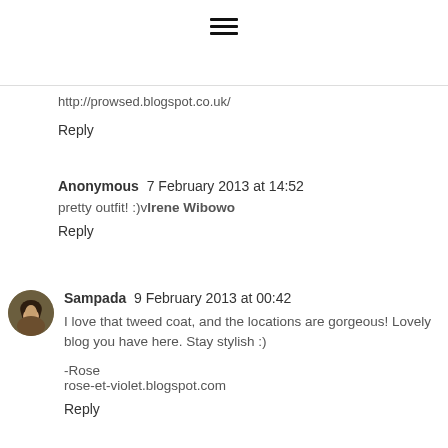[Figure (other): Hamburger menu icon (three horizontal lines)]
http://prowsed.blogspot.co.uk/
Reply
Anonymous  7 February 2013 at 14:52
pretty outfit! :)vIrene Wibowo
Reply
[Figure (photo): User avatar: a woman with long dark hair, circular profile photo]
Sampada  9 February 2013 at 00:42
I love that tweed coat, and the locations are gorgeous! Lovely blog you have here. Stay stylish :)
-Rose
rose-et-violet.blogspot.com
Reply